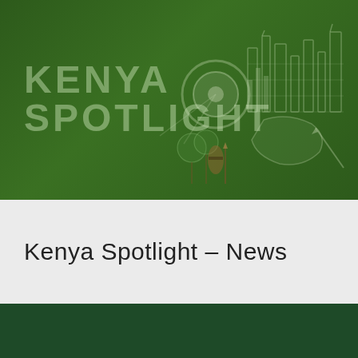[Figure (logo): Kenya Spotlight logo banner with dark green background, text 'KENYA SPOTLIGHT' in large semi-transparent letters, a spotlight/film reel icon, Kenya map outline, city skyline, trees and Maasai warrior silhouette in muted overlay style]
Kenya Spotlight – News
[Figure (other): Dark green rectangular banner at the bottom of the page]